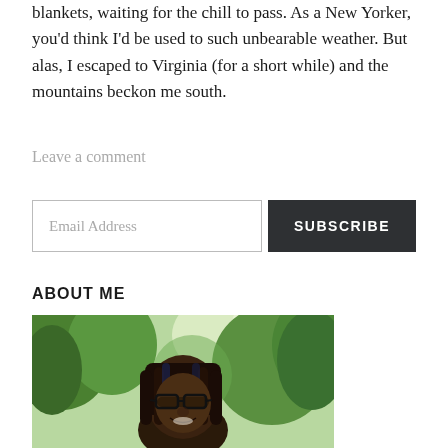blankets, waiting for the chill to pass. As a New Yorker, you'd think I'd be used to such unbearable weather. But alas, I escaped to Virginia (for a short while) and the mountains beckon me south.
Leave a comment
Email Address
SUBSCRIBE
ABOUT ME
[Figure (photo): Outdoor photo of a person with braids and glasses, smiling, surrounded by green trees in bright sunlight]